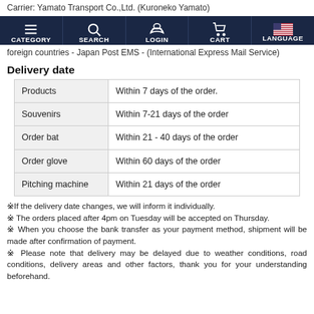Carrier: Yamato Transport Co.,Ltd. (Kuroneko Yamato)
[Figure (screenshot): Navigation bar with dark navy background showing 5 items: CATEGORY, SEARCH, LOGIN, CART, LANGUAGE each with icons]
foreign countries - Japan Post EMS - (International Express Mail Service)
Delivery date
| Products | Within 7 days of the order. |
| Souvenirs | Within 7-21 days of the order |
| Order bat | Within 21 - 40 days of the order |
| Order glove | Within 60 days of the order |
| Pitching machine | Within 21 days of the order |
※If the delivery date changes, we will inform it individually.
※ The orders placed after 4pm on Tuesday will be accepted on Thursday.
※ When you choose the bank transfer as your payment method, shipment will be made after confirmation of payment.
※ Please note that delivery may be delayed due to weather conditions, road conditions, delivery areas and other factors, thank you for your understanding beforehand.